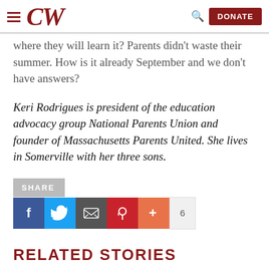CW — DONATE
where they will learn it? Parents didn't waste their summer. How is it already September and we don't have answers?
Keri Rodrigues is president of the education advocacy group National Parents Union and founder of Massachusetts Parents United. She lives in Somerville with her three sons.
[Figure (infographic): SHARE buttons: Facebook, Twitter, Email, Pinterest, Plus, with count of 6]
RELATED STORIES